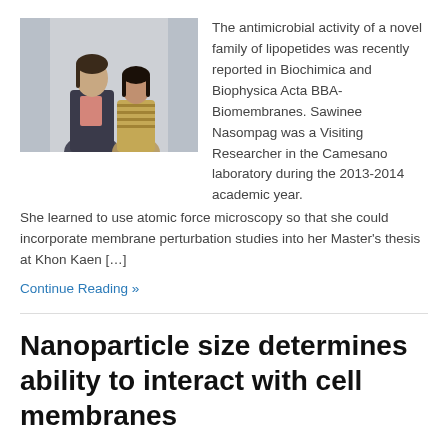[Figure (photo): Two women standing side by side, one in a dark blazer and one in a striped top, photographed indoors against a light background.]
The antimicrobial activity of a novel family of lipopetides was recently reported in Biochimica and Biophysica Acta BBA-Biomembranes. Sawinee Nasompag was a Visiting Researcher in the Camesano laboratory during the 2013-2014 academic year.  She learned to use atomic force microscopy so that she could incorporate membrane perturbation studies into her Master's thesis at Khon Kaen […]
Continue Reading »
Nanoparticle size determines ability to interact with cell membranes